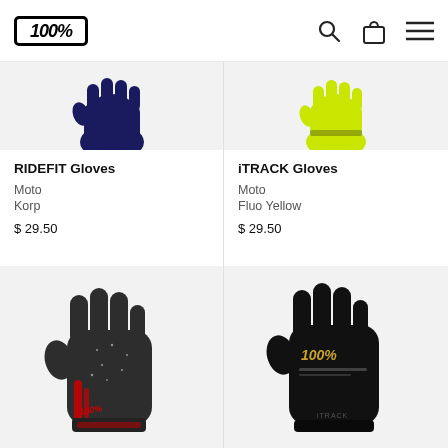[Figure (logo): 100% brand logo in bold italic text inside a bordered box]
RIDEFIT Gloves
Moto
Korp
$ 29.50
iTRACK Gloves
Moto
Fluo Yellow
$ 29.50
[Figure (photo): Dark grey/black glove with red accents and 100% branding, speckled pattern]
[Figure (photo): Black glove with gold 100% logo and iTRACK text]